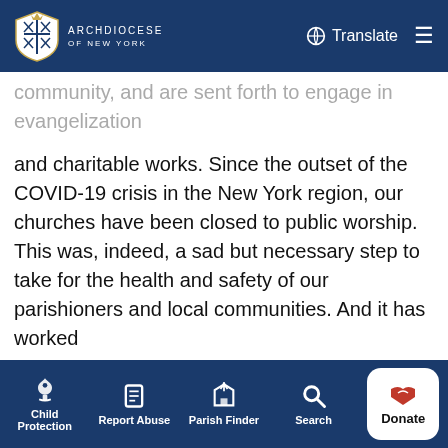Archdiocese of New York — Translate / Menu
community, and are sent forth to engage in evangelization and charitable works. Since the outset of the COVID-19 crisis in the New York region, our churches have been closed to public worship. This was, indeed, a sad but necessary step to take for the health and safety of our parishioners and local communities. And it has worked
Healthcare and government officials have now announced a phased plan to begin to reopen. To date, the“NY Forward” plan does not outline a process by which houses of worship will reopen their doors.
The Catholic community in New York is eager to resume
Child Protection | Report Abuse | Parish Finder | Search | Donate